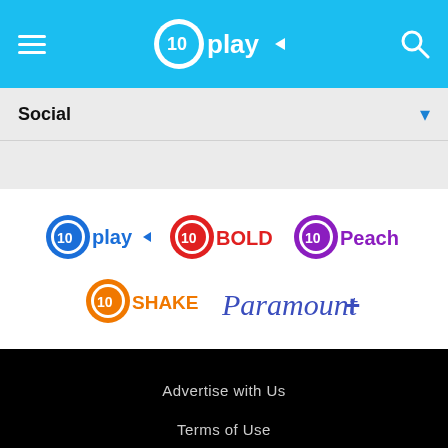[Figure (logo): 10 Play navigation header with hamburger menu, 10 play logo centered, and search icon]
Social
[Figure (logo): Five network logos: 10 play, 10 BOLD, 10 Peach, 10 SHAKE, Paramount+]
Advertise with Us
Terms of Use
Privacy Policy
FAQs